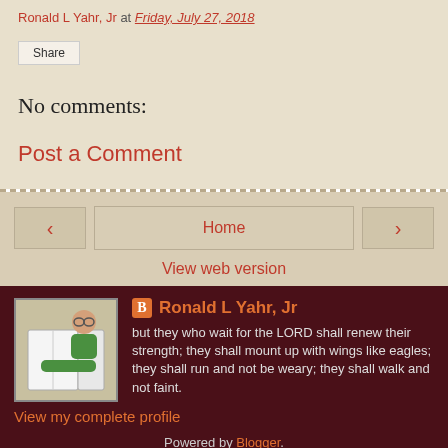Ronald L Yahr, Jr at Friday, July 27, 2018
Share
No comments:
Post a Comment
< Home >
View web version
Ronald L Yahr, Jr
but they who wait for the LORD shall renew their strength; they shall mount up with wings like eagles; they shall run and not be weary; they shall walk and not faint.
View my complete profile
Powered by Blogger.